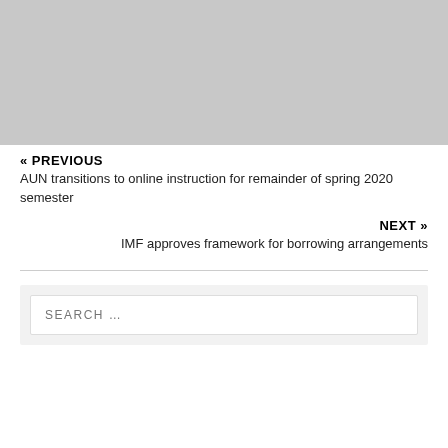[Figure (photo): Gray placeholder image at top of page]
« PREVIOUS
AUN transitions to online instruction for remainder of spring 2020 semester
NEXT »
IMF approves framework for borrowing arrangements
SEARCH …